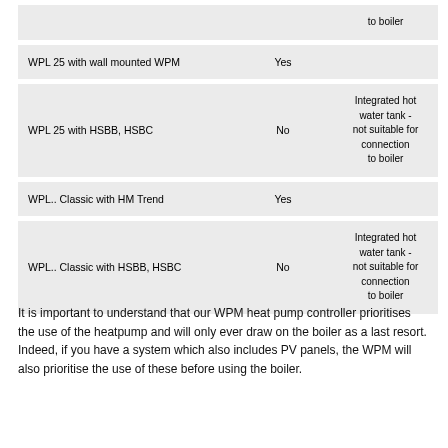| Model | Boiler Compatible | Notes |
| --- | --- | --- |
|  |  | to boiler |
| WPL 25 with wall mounted WPM | Yes |  |
| WPL 25 with HSBB, HSBC | No | Integrated hot water tank - not suitable for connection to boiler |
| WPL.. Classic with HM Trend | Yes |  |
| WPL.. Classic with HSBB, HSBC | No | Integrated hot water tank - not suitable for connection to boiler |
It is important to understand that our WPM heat pump controller prioritises the use of the heatpump and will only ever draw on the boiler as a last resort. Indeed, if you have a system which also includes PV panels, the WPM will also prioritise the use of these before using the boiler.